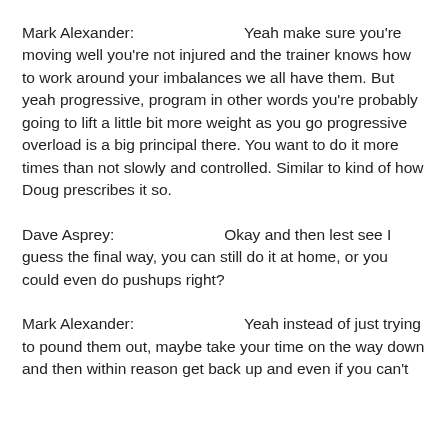Mark Alexander:   Yeah make sure you're moving well you're not injured and the trainer knows how to work around your imbalances we all have them. But yeah progressive, program in other words you're probably going to lift a little bit more weight as you go progressive overload is a big principal there. You want to do it more times than not slowly and controlled. Similar to kind of how Doug prescribes it so.
Dave Asprey:   Okay and then lest see I guess the final way, you can still do it at home, or you could even do pushups right?
Mark Alexander:   Yeah instead of just trying to pound them out, maybe take your time on the way down and then within reason get back up and even if you can't